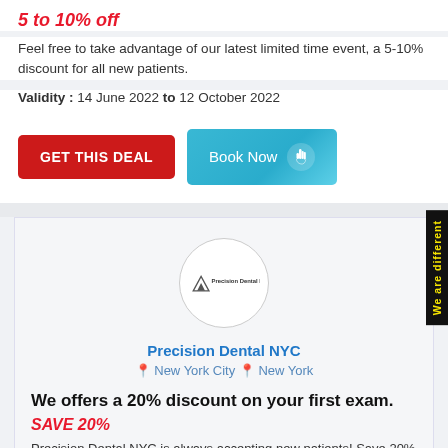5 to 10% off
Feel free to take advantage of our latest limited time event, a 5-10% discount for all new patients.
Validity : 14 June 2022 to 12 October 2022
[Figure (other): GET THIS DEAL red button and Book Now teal button with hand pointer icon]
[Figure (logo): Precision Dental NYC circular logo with mountain/triangle icon]
Precision Dental NYC
New York City  New York
We offers a 20% discount on your first exam.
SAVE 20%
Precision Dental NYC is always accepting new patients! Save 20% on